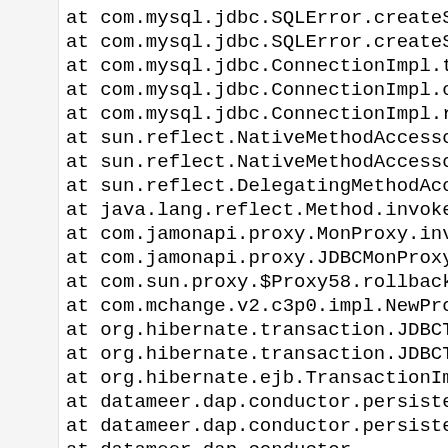at com.mysql.jdbc.SQLError.createSQLEx
at com.mysql.jdbc.SQLError.createSQLEx
at com.mysql.jdbc.ConnectionImpl.throw
at com.mysql.jdbc.ConnectionImpl.check
at com.mysql.jdbc.ConnectionImpl.rollb
at sun.reflect.NativeMethodAccessorImp
at sun.reflect.NativeMethodAccessorImp
at sun.reflect.DelegatingMethodAccesso
at java.lang.reflect.Method.invoke(Me
at com.jamonapi.proxy.MonProxy.invoke
at com.jamonapi.proxy.JDBCMonProxy.inv
at com.sun.proxy.$Proxy58.rollback(Unl
at com.mchange.v2.c3p0.impl.NewProxyCo
at org.hibernate.transaction.JDBCTrans
at org.hibernate.transaction.JDBCTrans
at org.hibernate.ejb.TransactionImpl.r
at datameer.dap.conductor.persistence
at datameer.dap.conductor.persistence
at datameer.dap.conductor.